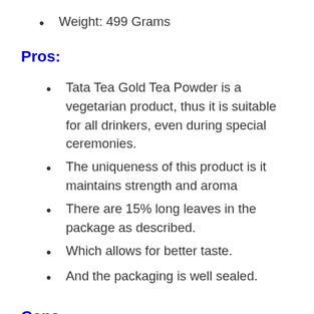Weight: 499 Grams
Pros:
Tata Tea Gold Tea Powder is a vegetarian product, thus it is suitable for all drinkers, even during special ceremonies.
The uniqueness of this product is it maintains strength and aroma
There are 15% long leaves in the package as described.
Which allows for better taste.
And the packaging is well sealed.
Cons:
Some people received tea from